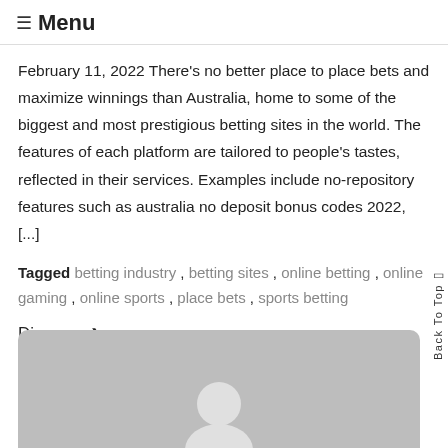☰ Menu
February 11, 2022 There's no better place to place bets and maximize winnings than Australia, home to some of the biggest and most prestigious betting sites in the world. The features of each platform are tailored to people's tastes, reflected in their services. Examples include no-repository features such as australia no deposit bonus codes 2022, [...]
Tagged betting industry , betting sites , online betting , online gaming , online sports , place bets , sports betting
Discover ❯
[Figure (photo): Gray rounded card with avatar silhouette at bottom center]